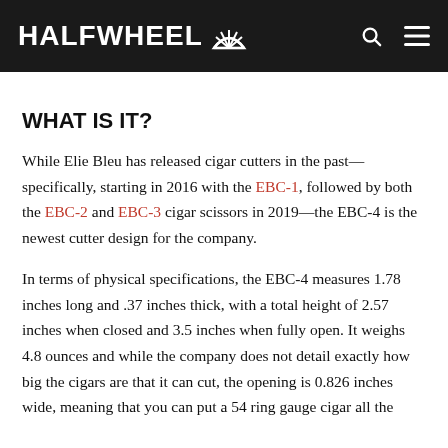HALFWHEEL
WHAT IS IT?
While Elie Bleu has released cigar cutters in the past—specifically, starting in 2016 with the EBC-1, followed by both the EBC-2 and EBC-3 cigar scissors in 2019—the EBC-4 is the newest cutter design for the company.
In terms of physical specifications, the EBC-4 measures 1.78 inches long and .37 inches thick, with a total height of 2.57 inches when closed and 3.5 inches when fully open. It weighs 4.8 ounces and while the company does not detail exactly how big the cigars are that it can cut, the opening is 0.826 inches wide, meaning that you can put a 54 ring gauge cigar all the